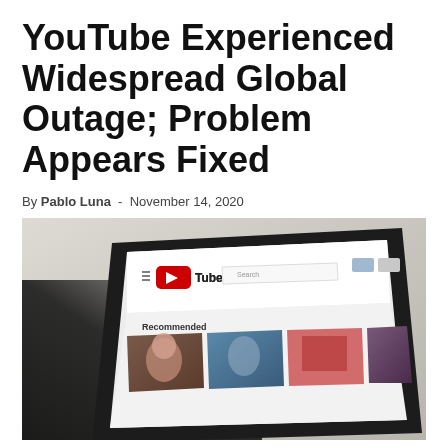YouTube Experienced Widespread Global Outage; Problem Appears Fixed
By Pablo Luna - November 14, 2020
[Figure (photo): A tablet computer displaying the YouTube homepage with the YouTube logo and recommended videos visible on the screen, photographed at an angle against a light blurred background.]